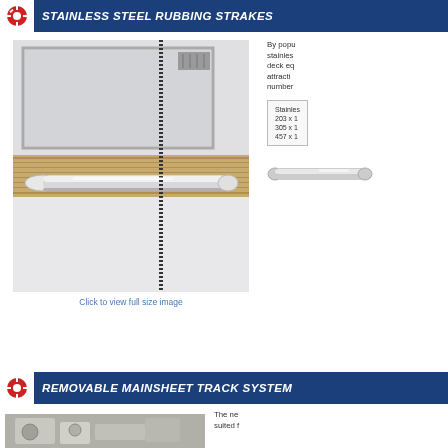STAINLESS STEEL RUBBING STRAKES
[Figure (photo): Photo of stainless steel rubbing strake mounted on a boat hull]
Click to view full size image
By popu... stainless... deck eq... attracti... number...
| Stainless... |
| --- |
| 203 x 1... |
| 305 x 1... |
| 457 x 1... |
[Figure (photo): Stainless steel rubbing strake product side view]
REMOVABLE MAINSHEET TRACK SYSTEM
[Figure (photo): Removable mainsheet track system hardware components]
The ne... suited f...